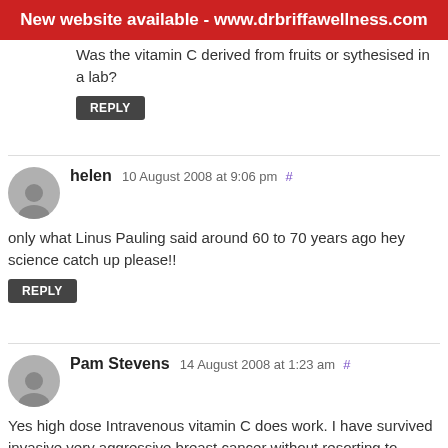New website available - www.drbriffawellness.com
Was the vitamin C derived from fruits or sythesised in a lab?
REPLY
helen 10 August 2008 at 9:06 pm #
only what Linus Pauling said around 60 to 70 years ago hey science catch up please!!
REPLY
Pam Stevens 14 August 2008 at 1:23 am #
Yes high dose Intravenous vitamin C does work. I have survived invasive very aggressive breast cancer without resorting to chemotherapy, radiotherapy or drugs.